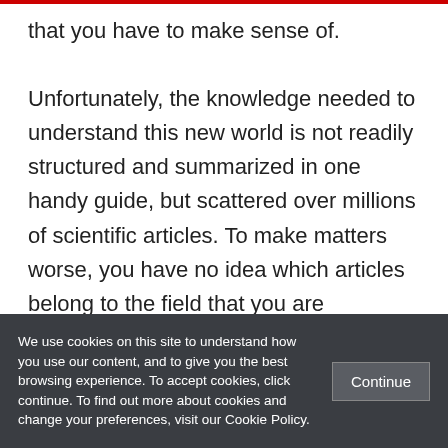that you have to make sense of. Unfortunately, the knowledge needed to understand this new world is not readily structured and summarized in one handy guide, but scattered over millions of scientific articles. To make matters worse, you have no idea which articles belong to the field that you are interested in and which of them are actually important. For many researchers, the starting point in their quest to conquer an
We use cookies on this site to understand how you use our content, and to give you the best browsing experience. To accept cookies, click continue. To find out more about cookies and change your preferences, visit our Cookie Policy.